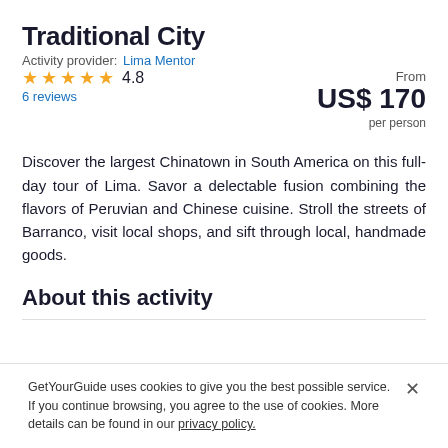Traditional City
Activity provider:  Lima Mentor
★★★★★ 4.8
6 reviews
From
US$ 170
per person
Discover the largest Chinatown in South America on this full-day tour of Lima. Savor a delectable fusion combining the flavors of Peruvian and Chinese cuisine. Stroll the streets of Barranco, visit local shops, and sift through local, handmade goods.
About this activity
GetYourGuide uses cookies to give you the best possible service. If you continue browsing, you agree to the use of cookies. More details can be found in our privacy policy.